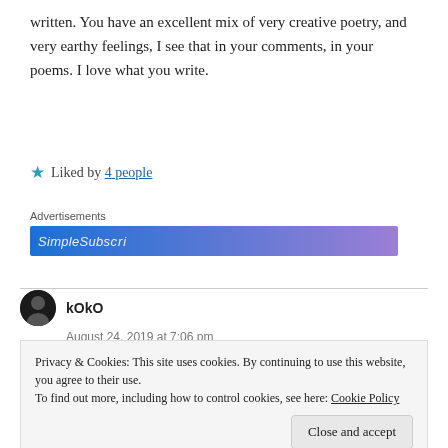written. You have an excellent mix of very creative poetry, and very earthy feelings, I see that in your comments, in your poems. I love what you write.
★ Liked by 4 people
Advertisements
[Figure (other): Advertisement banner with blue-to-purple gradient background and partial white text]
kOkO
August 24, 2019 at 7:06 pm
Privacy & Cookies: This site uses cookies. By continuing to use this website, you agree to their use. To find out more, including how to control cookies, see here: Cookie Policy
Close and accept